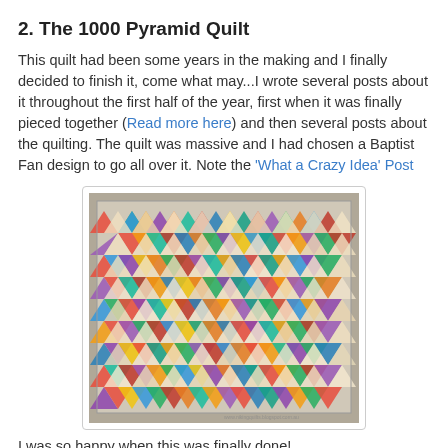2. The 1000 Pyramid Quilt
This quilt had been some years in the making and I finally decided to finish it, come what may...I wrote several posts about it throughout the first half of the year, first when it was finally pieced together (Read more here) and then several posts about the quilting. The quilt was massive and I had chosen a Baptist Fan design to go all over it. Note the ‘What a Crazy Idea’ Post
[Figure (photo): A large colorful pyramid/triangle patchwork quilt laid flat on the ground, viewed from above at a slight angle, showing hundreds of multicolored triangular fabric pieces arranged in rows.]
I was so happy when this was finally done!